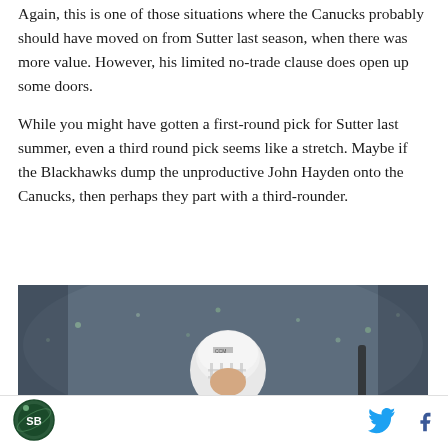Again, this is one of those situations where the Canucks probably should have moved on from Sutter last season, when there was more value. However, his limited no-trade clause does open up some doors.
While you might have gotten a first-round pick for Sutter last summer, even a third round pick seems like a stretch. Maybe if the Blackhawks dump the unproductive John Hayden onto the Canucks, then perhaps they part with a third-rounder.
[Figure (photo): Hockey player in white helmet and dark jersey on ice, during a game with crowd in background]
SB Nation logo, Twitter icon, Facebook icon